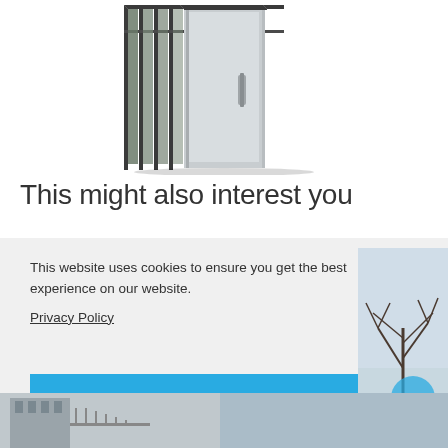[Figure (illustration): Product illustration showing glass/window panel system with dark frames and silver/chrome hardware, partially cropped at top]
This might also interest you
This website uses cookies to ensure you get the best experience on our website. Privacy Policy
OK
[Figure (photo): Partially visible photo at bottom right showing a winter tree scene with blue circular element]